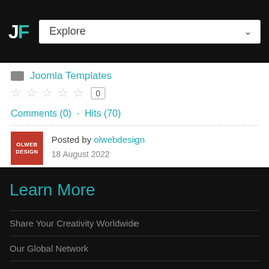JF | Explore
Joomla Templates
★★★★★ 0
Comments (0) · Hits (70)
Posted by olwebdesign
Learn More
Share Your Creativity Worldwide
Our Global Network
10 Reasons To Blog